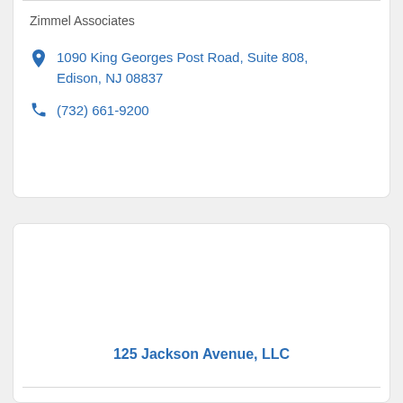Zimmel Associates
1090 King Georges Post Road, Suite 808, Edison, NJ 08837
(732) 661-9200
125 Jackson Avenue, LLC